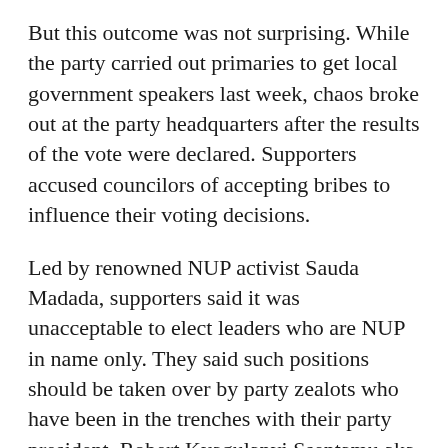But this outcome was not surprising. While the party carried out primaries to get local government speakers last week, chaos broke out at the party headquarters after the results of the vote were declared. Supporters accused councilors of accepting bribes to influence their voting decisions.
Led by renowned NUP activist Sauda Madada, supporters said it was unacceptable to elect leaders who are NUP in name only. They said such positions should be taken over by party zealots who have been in the trenches with their party president, Robert Kyagulanyi Ssentamu aka Bobi Wine as he crisscrossed the country looking for votes and in the process braving the brunt of state brutality.
“How can you give the card to known NRM supporters and leave the foot soldiers. These are the people we